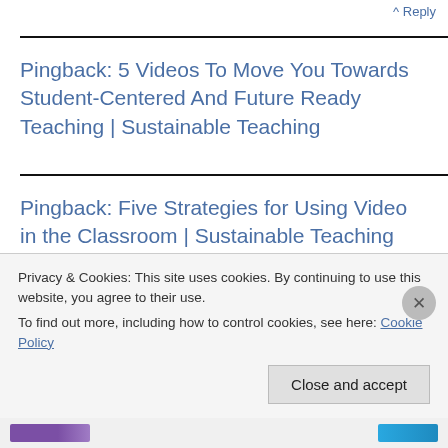^ Reply
Pingback: 5 Videos To Move You Towards Student-Centered And Future Ready Teaching | Sustainable Teaching
Pingback: Five Strategies for Using Video in the Classroom | Sustainable Teaching
Pingback: Five Strategies for Using Video in the
Privacy & Cookies: This site uses cookies. By continuing to use this website, you agree to their use.
To find out more, including how to control cookies, see here: Cookie Policy
Close and accept